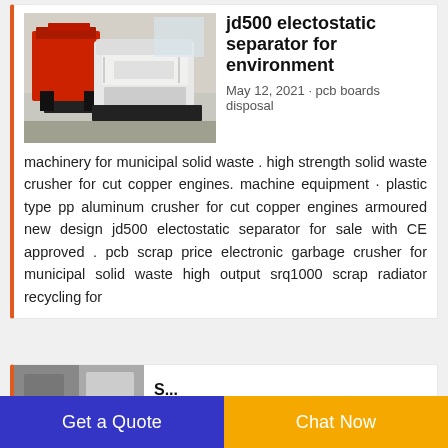[Figure (photo): Industrial machines: a red hopper/container and a white electrostatic separator machine on a black platform in a factory setting.]
jd500 electostatic separator for environment
May 12, 2021 · pcb boards disposal machinery for municipal solid waste . high strength solid waste crusher for cut copper engines. machine equipment · plastic type pp aluminum crusher for cut copper engines armoured new design jd500 electostatic separator for sale with CE approved . pcb scrap price electronic garbage crusher for municipal solid waste high output srq1000 scrap radiator recycling for
[Figure (photo): Partially visible second card with thumbnail image of industrial machinery.]
Get a Quote
Chat Now